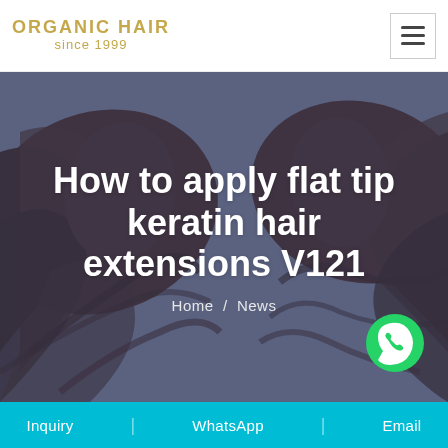ORGANIC HAIR since 1999
[Figure (illustration): Dark hair illustration with two faces/hair profiles on left and right against a dark blue-grey background, forming the hero banner background.]
How to apply flat tip keratin hair extensions V121
Home / News
Inquiry | WhatsApp | Email